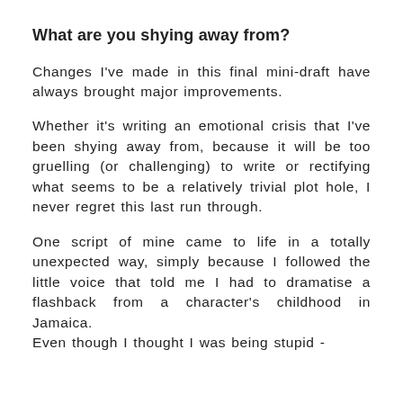What are you shying away from?
Changes I've made in this final mini-draft have always brought major improvements.
Whether it's writing an emotional crisis that I've been shying away from, because it will be too gruelling (or challenging) to write or rectifying what seems to be a relatively trivial plot hole, I never regret this last run through.
One script of mine came to life in a totally unexpected way, simply because I followed the little voice that told me I had to dramatise a flashback from a character's childhood in Jamaica.
Even though I thought I was being stupid -